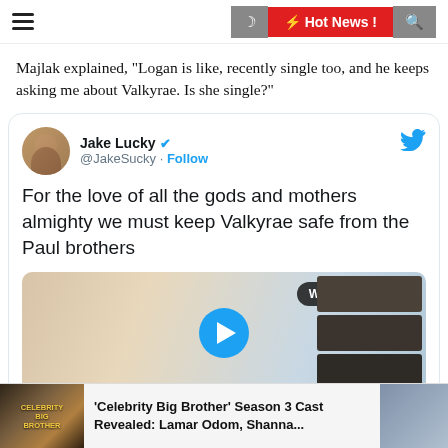≡  Hot News !  🌙  🔍
Majlak explained, "Logan is like, recently single too, and he keeps asking me about Valkyrae. Is she single?"
[Figure (screenshot): Embedded tweet from @JakeSucky (Jake Lucky, verified) with text: 'For the love of all the gods and mothers almighty we must keep Valkyrae safe from the Paul brothers', with a video thumbnail showing Watch on Twitter badge and play button.]
'Celebrity Big Brother' Season 3 Cast Revealed: Lamar Odom, Shanna...